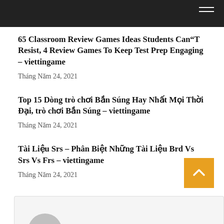65 Classroom Review Games Ideas Students Can“T Resist, 4 Review Games To Keep Test Prep Engaging – viettingame
Tháng Năm 24, 2021
Top 15 Dòng trò chơi Bắn Súng Hay Nhất Mọi Thời Đại, trò chơi Bắn Súng – viettingame
Tháng Năm 24, 2021
Tài Liệu Srs – Phân Biệt Những Tài Liệu Brd Vs Srs Vs Frs – viettingame
Tháng Năm 24, 2021